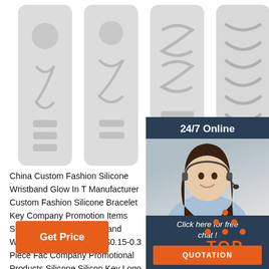[Figure (photo): Five white silicone wristband strips with embossed patterns laid flat on white background]
[Figure (photo): 24/7 Online customer service agent - woman with headset smiling, with dark blue background chat box, 'Click here for free chat!' text, and orange QUOTATION button]
China Custom Fashion Silicone Wristband Glow In T Manufacturer Custom Fashion Silicone Bracelet Key Company Promotion Items Sports Tyvek Wristband Band Watch with Any Logo US $0.15-0.3 Piece Fac Company Promotional Products Silicone Silicon Key Logo Glow in The Dark Rubber Band Energy Brace Promotion Item
[Figure (infographic): Orange 'Get Price' button]
[Figure (infographic): Orange dotted arrow pointing up with 'TOP' text below]